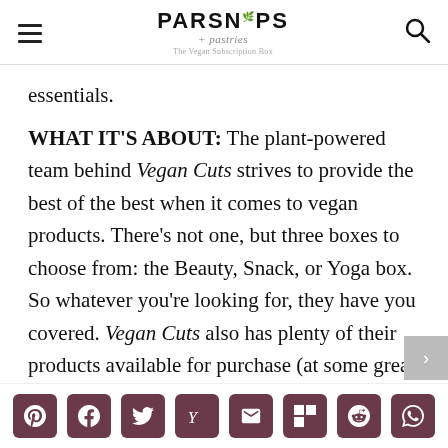PARSNIPS + pastries
essentials.
WHAT IT'S ABOUT: The plant-powered team behind Vegan Cuts strives to provide the best of the best when it comes to vegan products. There's not one, but three boxes to choose from: the Beauty, Snack, or Yoga box. So whatever you're looking for, they have you covered. Vegan Cuts also has plenty of their products available for purchase (at some great
Share buttons: Pinterest, Facebook, Twitter, Yummly, Email, Flipboard, Reddit, WhatsApp